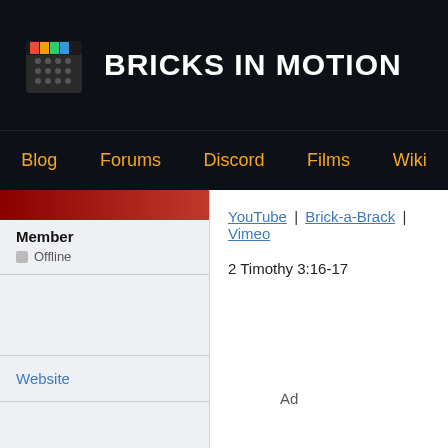BRICKS IN MOTION
Blog | Forums | Discord | Films | Wiki
Member
Offline
YouTube | Brick-a-Brack | Vimeo
2 Timothy 3:16-17
Website
Ad